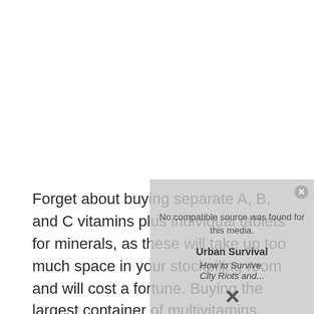Forget about buying separate A, B, and C vitamins plus individual tablets for minerals, as these will take up too much space in your stockpiling room and will cost a fortune. Buying the largest container of multivitamins
[Figure (other): Partially visible book cover overlay in bottom-right area showing 'Urban Survival' and 'How to Survive City Riots and...' with a grey overlay message 'No compatible source was found for this media.' and a close button X]